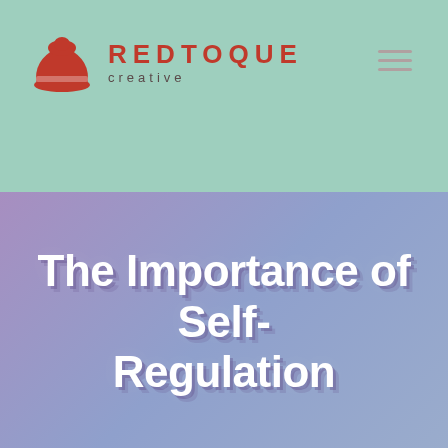REDTOQUE creative
[Figure (logo): Red Toque Creative logo with red toque hat icon and brand name]
The Importance of Self-Regulation